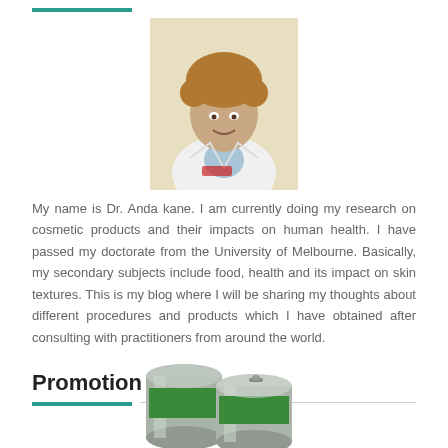[Figure (photo): Photo of Dr. Anda Kane, a woman with curly hair wearing a white lab coat, smiling]
My name is Dr. Anda kane. I am currently doing my research on cosmetic products and their impacts on human health. I have passed my doctorate from the University of Melbourne. Basically, my secondary subjects include food, health and its impact on skin textures. This is my blog where I will be sharing my thoughts about different procedures and products which I have obtained after consulting with practitioners from around the world.
Promotion
[Figure (photo): Photo of green soda/beverage cans stacked together]